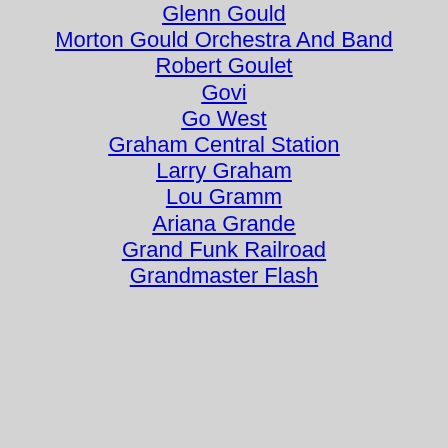Glenn Gould
Morton Gould Orchestra And Band
Robert Goulet
Govi
Go West
Graham Central Station
Larry Graham
Lou Gramm
Ariana Grande
Grand Funk Railroad
Grandmaster Flash